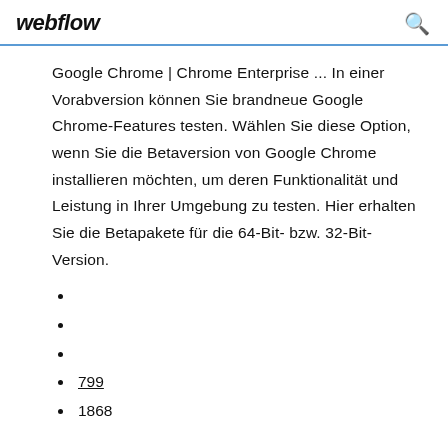webflow
Google Chrome | Chrome Enterprise ... In einer Vorabversion können Sie brandneue Google Chrome-Features testen. Wählen Sie diese Option, wenn Sie die Betaversion von Google Chrome installieren möchten, um deren Funktionalität und Leistung in Ihrer Umgebung zu testen. Hier erhalten Sie die Betapakete für die 64-Bit- bzw. 32-Bit-Version.
799
1868